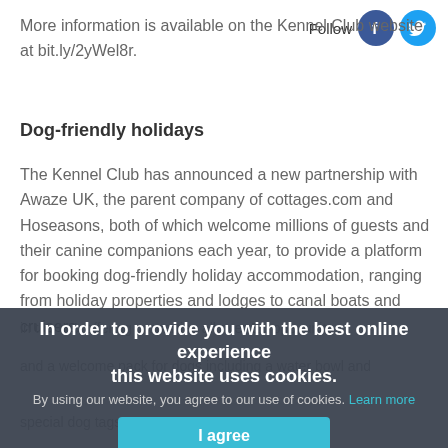More information is available on the Kennel Club website at bit.ly/2yWel8r.
Dog-friendly holidays
The Kennel Club has announced a new partnership with Awaze UK, the parent company of cottages.com and Hoseasons, both of which welcome millions of guests and their canine companions each year, to provide a platform for booking dog-friendly holiday accommodation, ranging from holiday properties and lodges to canal boats and cruisers.
In order to provide you with the best online experience this website uses cookies. By using our website, you agree to our use of cookies. Learn more
I agree